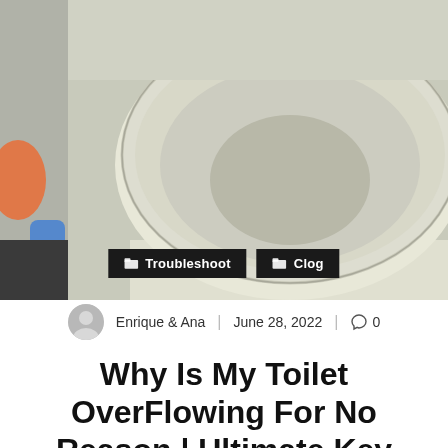[Figure (photo): Close-up photo of a white toilet bowl and seat from above, with bathroom items visible in the background. Two dark category badge overlays read 'Troubleshoot' and 'Clog'.]
Enrique & Ana  |  June 28, 2022  |  0
Why Is My Toilet OverFlowing For No Reason | Ultimate Key